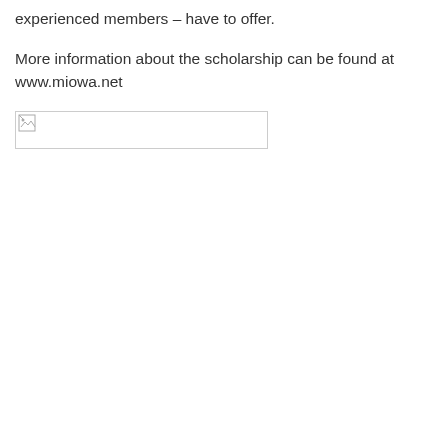experienced members – have to offer.
More information about the scholarship can be found at www.miowa.net
[Figure (other): Broken/unloaded image placeholder, rectangular banner area]